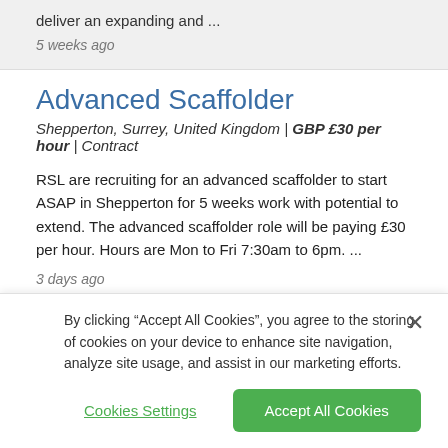deliver an expanding and ...
5 weeks ago
Advanced Scaffolder
Shepperton, Surrey, United Kingdom | GBP £30 per hour | Contract
RSL are recruiting for an advanced scaffolder to start ASAP in Shepperton for 5 weeks work with potential to extend. The advanced scaffolder role will be paying £30 per hour. Hours are Mon to Fri 7:30am to 6pm. ...
3 days ago
By clicking “Accept All Cookies”, you agree to the storing of cookies on your device to enhance site navigation, analyze site usage, and assist in our marketing efforts.
Cookies Settings
Accept All Cookies